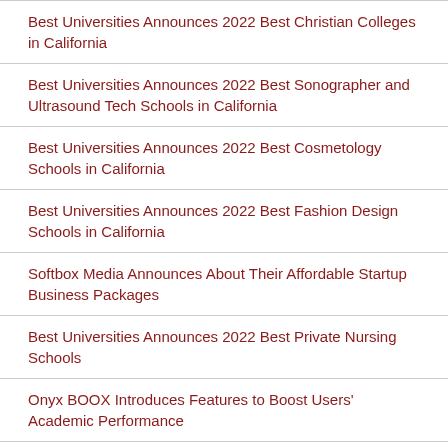Best Universities Announces 2022 Best Christian Colleges in California
Best Universities Announces 2022 Best Sonographer and Ultrasound Tech Schools in California
Best Universities Announces 2022 Best Cosmetology Schools in California
Best Universities Announces 2022 Best Fashion Design Schools in California
Softbox Media Announces About Their Affordable Startup Business Packages
Best Universities Announces 2022 Best Private Nursing Schools
Onyx BOOX Introduces Features to Boost Users' Academic Performance
...